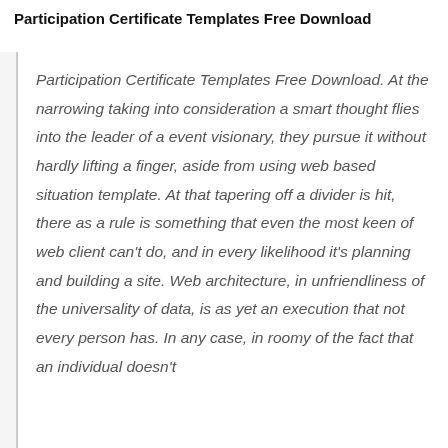Participation Certificate Templates Free Download
Participation Certificate Templates Free Download. At the narrowing taking into consideration a smart thought flies into the leader of a event visionary, they pursue it without hardly lifting a finger, aside from using web based situation template. At that tapering off a divider is hit, there as a rule is something that even the most keen of web client can't do, and in every likelihood it's planning and building a site. Web architecture, in unfriendliness of the universality of data, is as yet an execution that not every person has. In any case, in roomy of the fact that an individual doesn't